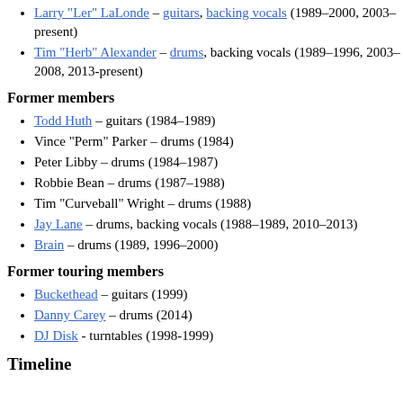Larry "Ler" LaLonde – guitars, backing vocals (1989–2000, 2003–present)
Tim "Herb" Alexander – drums, backing vocals (1989–1996, 2003–2008, 2013-present)
Former members
Todd Huth – guitars (1984–1989)
Vince "Perm" Parker – drums (1984)
Peter Libby – drums (1984–1987)
Robbie Bean – drums (1987–1988)
Tim "Curveball" Wright – drums (1988)
Jay Lane – drums, backing vocals (1988–1989, 2010–2013)
Brain – drums (1989, 1996–2000)
Former touring members
Buckethead – guitars (1999)
Danny Carey – drums (2014)
DJ Disk - turntables (1998-1999)
Timeline